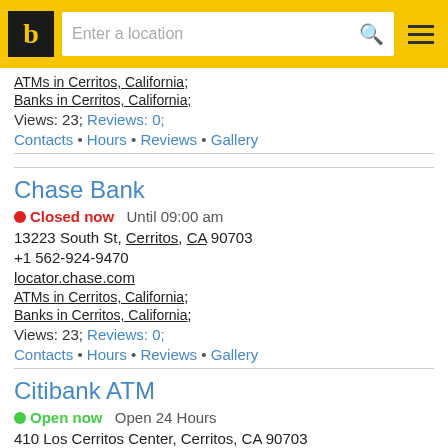b | Enter a location [search] [menu]
ATMs in Cerritos, California;
Banks in Cerritos, California;
Views: 23; Reviews: 0;
Contacts • Hours • Reviews • Gallery
Chase Bank
● Closed now   Until 09:00 am
13223 South St, Cerritos, CA 90703
+1 562-924-9470
locator.chase.com
ATMs in Cerritos, California;
Banks in Cerritos, California;
Views: 23; Reviews: 0;
Contacts • Hours • Reviews • Gallery
Citibank ATM
● Open now   Open 24 Hours
410 Los Cerritos Center, Cerritos, CA 90703